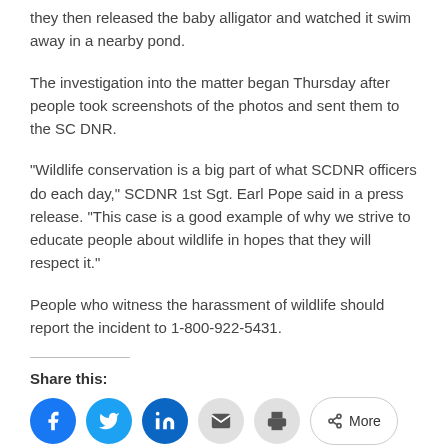they then released the baby alligator and watched it swim away in a nearby pond.
The investigation into the matter began Thursday after people took screenshots of the photos and sent them to the SC DNR.
“Wildlife conservation is a big part of what SCDNR officers do each day,” SCDNR 1st Sgt. Earl Pope said in a press release. “This case is a good example of why we strive to educate people about wildlife in hopes that they will respect it.”
People who witness the harassment of wildlife should report the incident to 1-800-922-5431.
Share this: